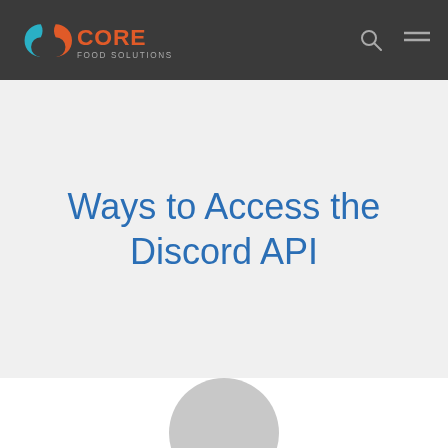Core Food Solutions
Ways to Access the Discord API
[Figure (other): Partial avatar/profile icon circle at bottom of page, gray color]